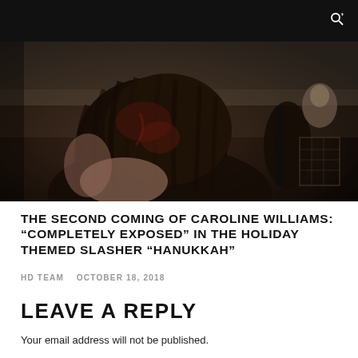[Figure (photo): Horror movie still image showing a figure with long dark hair and bloody appearance, dark moody scene with dim lighting]
THE SECOND COMING OF CAROLINE WILLIAMS: “COMPLETELY EXPOSED” IN THE HOLIDAY THEMED SLASHER “HANUKKAH”
HD TEAM   OCTOBER 18, 2018
LEAVE A REPLY
Your email address will not be published.